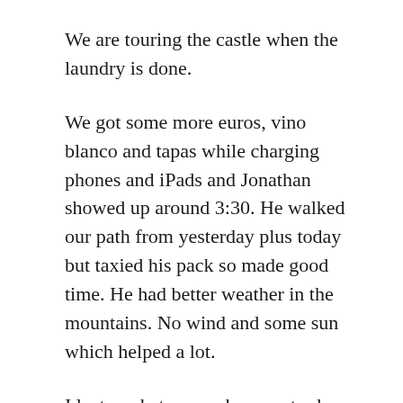We are touring the castle when the laundry is done.
We got some more euros, vino blanco and tapas while charging phones and iPads and Jonathan showed up around 3:30. He walked our path from yesterday plus today but taxied his pack so made good time. He had better weather in the mountains. No wind and some sun which helped a lot.
I lost my hat somewhere yesterday and I really liked that hat. Now we need to shop for another.
We have been planning out a new Camino in